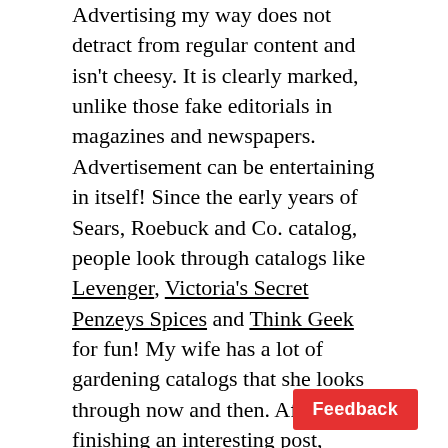Advertising my way does not detract from regular content and isn't cheesy. It is clearly marked, unlike those fake editorials in magazines and newspapers. Advertisement can be entertaining in itself! Since the early years of Sears, Roebuck and Co. catalog, people look through catalogs like Levenger, Victoria's Secret Penzeys Spices and Think Geek for fun! My wife has a lot of gardening catalogs that she looks through now and then. After finishing an interesting post, readers would not mind learning about an interesting gadget or book they might want. In fact, they might already be in the mood to buy it! There is no reason to serve partial RSS feeds with this type or advertising.
P.S. I turned off comments to this article because for some reason it attracts a ridiculous number of spam comments. If you would like to contact me, see about the author section. I also changed the way of displaying Amazon's related it...